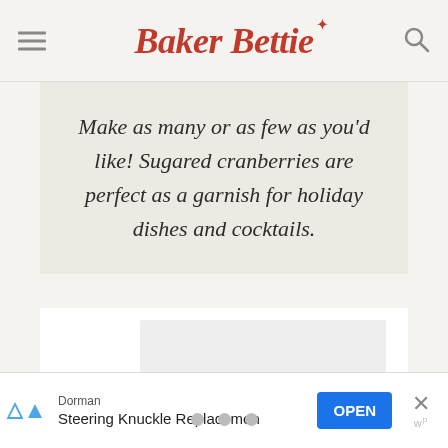Baker Bettie
Make as many or as few as you'd like! Sugared cranberries are perfect as a garnish for holiday dishes and cocktails.
[Figure (photo): Image carousel area with a placeholder image region and three navigation dots at the bottom]
Dorman Steering Knuckle Replacemen   OPEN